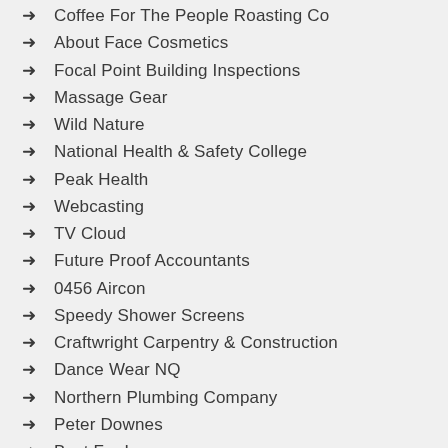Coffee For The People Roasting Co
About Face Cosmetics
Focal Point Building Inspections
Massage Gear
Wild Nature
National Health & Safety College
Peak Health
Webcasting
TV Cloud
Future Proof Accountants
0456 Aircon
Speedy Shower Screens
Craftwright Carpentry & Construction
Dance Wear NQ
Northern Plumbing Company
Peter Downes
Best For Less